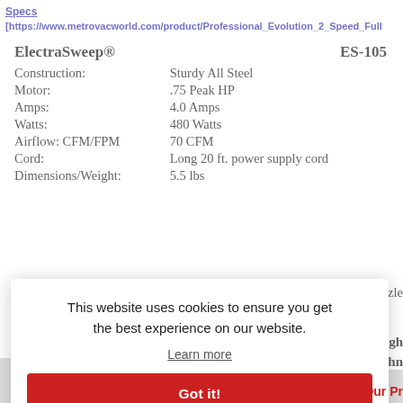Specs [https://www.metrovacworld.com/product/Professional_Evolution_2_Speed_Full...
| ElectraSweep® | ES-105 |
| Construction: | Sturdy All Steel |
| Motor: | .75 Peak HP |
| Amps: | 4.0 Amps |
| Watts: | 480 Watts |
| Airflow: CFM/FPM | 70 CFM |
| Cord: | Long 20 ft. power supply cord |
| Dimensions/Weight: | 5.5 lbs |
Nozzle
This website uses cookies to ensure you get the best experience on our website.
Learn more
Got it!
Light tachm
Our Pr